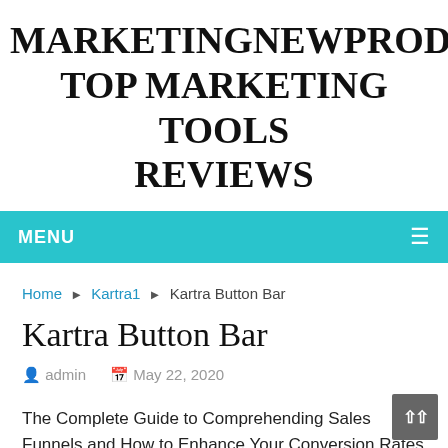MARKETINGNEWPRODUCT TOP MARKETING TOOLS REVIEWS
MENU ≡
Home ▶ Kartra1 ▶ Kartra Button Bar
Kartra Button Bar
admin   May 22, 2020
The Complete Guide to Comprehending Sales Funnels and How to Enhance Your Conversion Rates